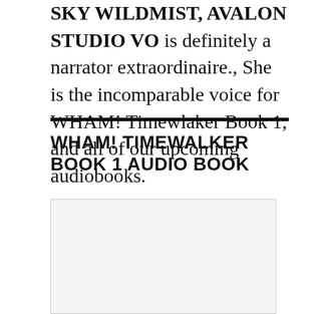SKY WILDMIST, AVALON STUDIO VO is definitely a narrator extraordinaire., She is the incomparable voice for WHAM! Timewlaker Book 1, and all of our upcoming audiobooks.
WHAM! TIMEWALKER BOOK 1 AUDIO BOOK
[Figure (other): Empty image placeholder box with light gray background]